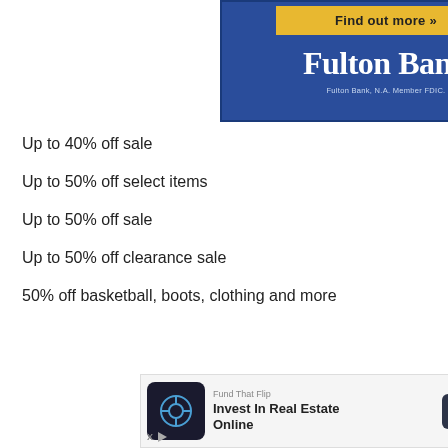[Figure (advertisement): Fulton Bank advertisement banner with yellow 'Find out more »' button and white bold 'Fulton Bank' text on blue background, with 'Fulton Bank, N.A. Member FDIC.' tagline]
Up to 40% off sale
Up to 50% off select items
Up to 50% off sale
Up to 50% off clearance sale
50% off basketball, boots, clothing and more
[Figure (advertisement): Fund That Flip advertisement banner with logo, 'Invest In Real Estate Online' text, and 'Open' button]